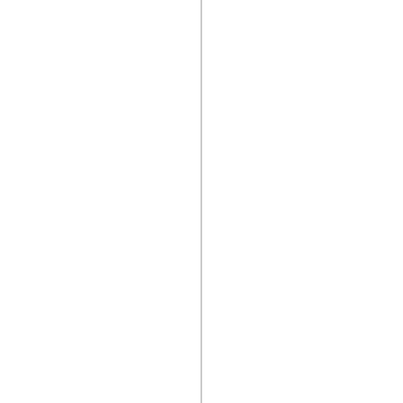ailed to mention was that the s
[Figure (other): Vertical gray line dividing the page]